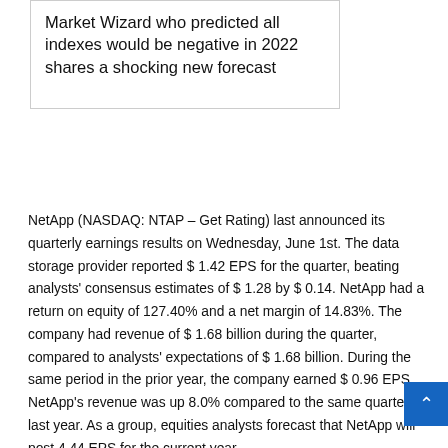Market Wizard who predicted all indexes would be negative in 2022 shares a shocking new forecast
NetApp (NASDAQ: NTAP – Get Rating) last announced its quarterly earnings results on Wednesday, June 1st. The data storage provider reported $ 1.42 EPS for the quarter, beating analysts' consensus estimates of $ 1.28 by $ 0.14. NetApp had a return on equity of 127.40% and a net margin of 14.83%. The company had revenue of $ 1.68 billion during the quarter, compared to analysts' expectations of $ 1.68 billion. During the same period in the prior year, the company earned $ 0.96 EPS. NetApp's revenue was up 8.0% compared to the same quarter last year. As a group, equities analysts forecast that NetApp will post 4.44 EPS for the current year.